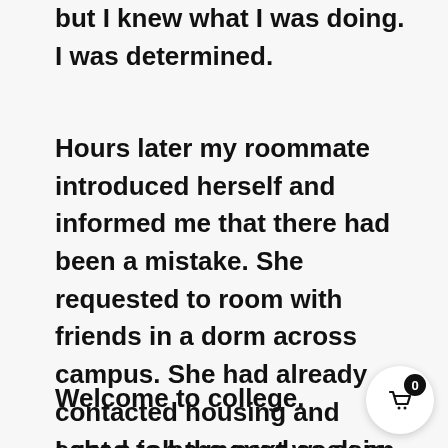but I knew what I was doing. I was determined.
Hours later my roommate introduced herself and informed me that there had been a mistake. She requested to room with friends in a dorm across campus. She had already contacted housing and asked to be moved as soon as possible. “I’ll be out of your way in a day or two.”
Welcome to college.
I got a job the next week in the